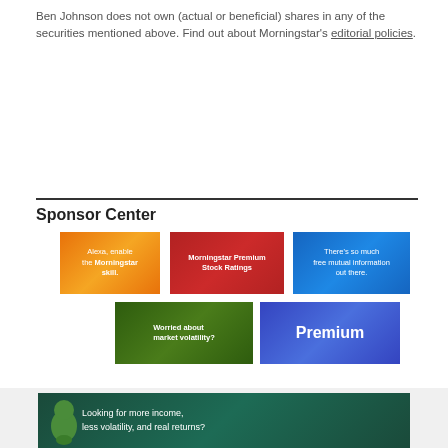Ben Johnson does not own (actual or beneficial) shares in any of the securities mentioned above. Find out about Morningstar's editorial policies.
Sponsor Center
[Figure (infographic): Orange gradient tile: Alexa, enable the Morningstar skill.]
[Figure (infographic): Red gradient tile: Morningstar Premium Stock Ratings]
[Figure (infographic): Blue gradient tile: There's so much free mutual information out there.]
[Figure (infographic): Green gradient tile: Worried about market volatility?]
[Figure (infographic): Blue gradient tile: Premium]
[Figure (infographic): Dark teal banner: Looking for more income, less volatility, and real returns?]